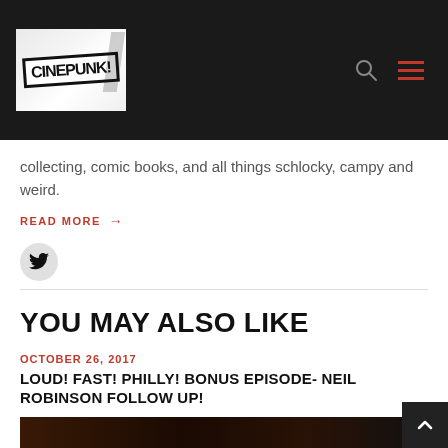CINEPUNK logo with search and menu icons
collecting, comic books, and all things schlocky, campy and weird.
READ MORE →
[Figure (illustration): Twitter social media icon button (circular grey background)]
YOU MAY ALSO LIKE
OCTOBER 26, 2017
LOUD! FAST! PHILLY! BONUS EPISODE- NEIL ROBINSON FOLLOW UP!
[Figure (photo): Article thumbnail image - dark toned photo]